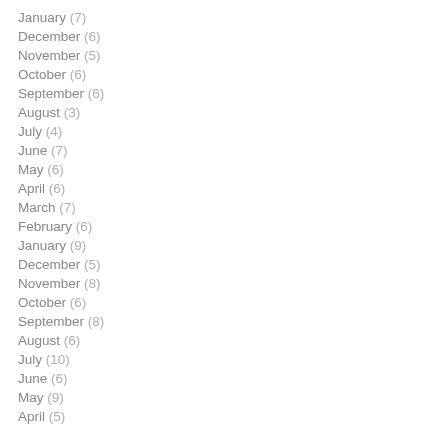January (7)
December (6)
November (5)
October (6)
September (6)
August (3)
July (4)
June (7)
May (6)
April (6)
March (7)
February (6)
January (9)
December (5)
November (8)
October (6)
September (8)
August (6)
July (10)
June (6)
May (9)
April (5)